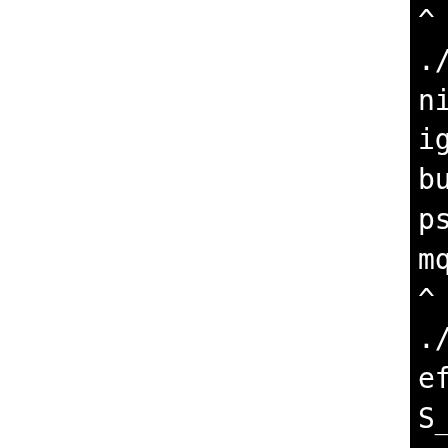[Figure (screenshot): Terminal/compiler output on black background showing compiler warnings about always_inline functions not being inlinable, with references to psm_mq_internal.h and psm_help.h source files. The left portion of the page is white (blank), and the right portion shows the black terminal with white monospace text.]